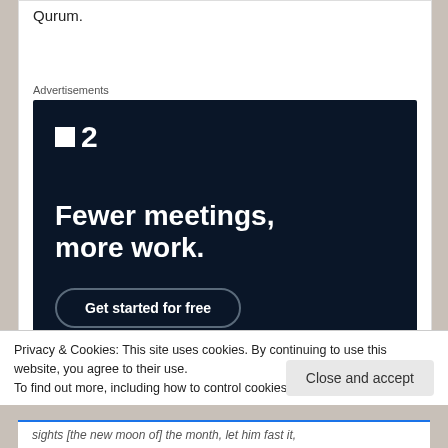Qurum.
Advertisements
[Figure (illustration): Advertisement for a project management tool (Twist/p2). Dark navy background with white logo showing a small white square and the number '2'. Large white bold text reads 'Fewer meetings, more work.' with a 'Get started for free' button outlined in dark gray.]
Privacy & Cookies: This site uses cookies. By continuing to use this website, you agree to their use.
To find out more, including how to control cookies, see here: Cookie Policy
Close and accept
sights [the new moon of] the month, let him fast it,